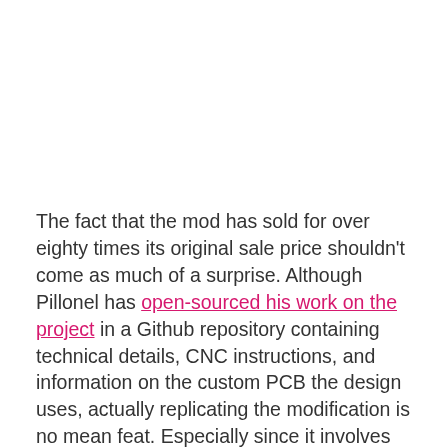The fact that the mod has sold for over eighty times its original sale price shouldn't come as much of a surprise. Although Pillonel has open-sourced his work on the project in a Github repository containing technical details, CNC instructions, and information on the custom PCB the design uses, actually replicating the modification is no mean feat. Especially since it involves installing extra circuitry into the phone's chassis.